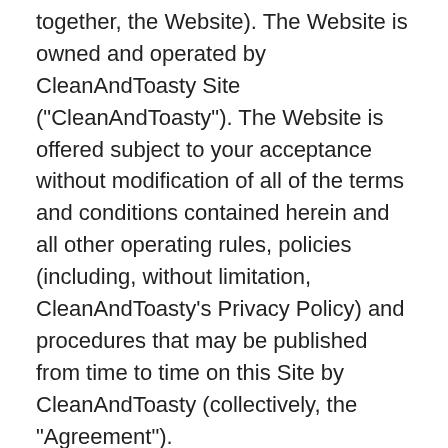together, the Website). The Website is owned and operated by CleanAndToasty Site ("CleanAndToasty"). The Website is offered subject to your acceptance without modification of all of the terms and conditions contained herein and all other operating rules, policies (including, without limitation, CleanAndToasty's Privacy Policy) and procedures that may be published from time to time on this Site by CleanAndToasty (collectively, the "Agreement").
Please read this Agreement carefully before accessing or using the Website. By accessing or using any part of the web site, you agree to become bound by the terms and conditions of this agreement. If you do not agree to all the terms and conditions of this agreement, then you may not access the Website or use any services. If these terms and conditions are considered an offer by CleanAndToasty, acceptance is expressly limited to these